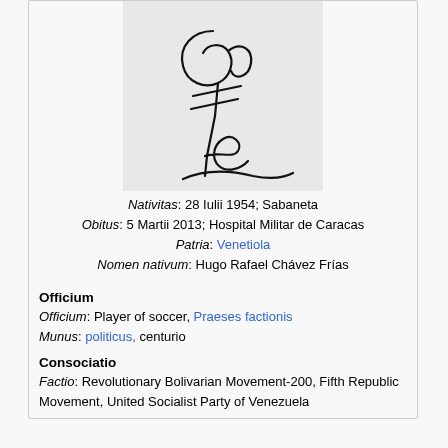[Figure (illustration): Handwritten signature of Hugo Chávez on grey background]
Nativitas: 28 Iulii 1954; Sabaneta
Obitus: 5 Martii 2013; Hospital Militar de Caracas
Patria: Venetiola
Nomen nativum: Hugo Rafael Chávez Frías
Officium
Officium: Player of soccer, Praeses factionis
Munus: politicus, centurio
Consociatio
Factio: Revolutionary Bolivarian Movement-200, Fifth Republic Movement, United Socialist Party of Venezuela